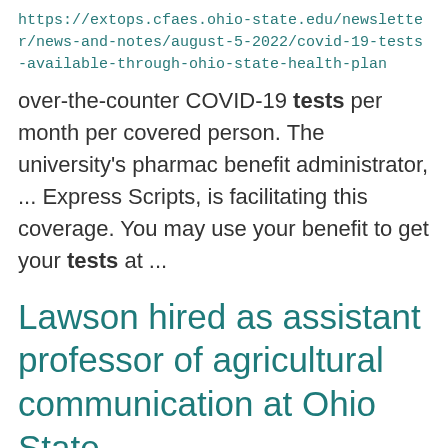https://extops.cfaes.ohio-state.edu/newsletter/news-and-notes/august-5-2022/covid-19-tests-available-through-ohio-state-health-plan
over-the-counter COVID-19 tests per month per covered person. The university's pharmacy benefit administrator, ... Express Scripts, is facilitating this coverage. You may use your benefit to get your tests at ...
Lawson hired as assistant professor of agricultural communication at Ohio State
https://acel.osu.edu/news/lawson-hired-assistant-professor-agricultural-communication-ohio-state
The Department of Agricultural Communication, Education, and Leadership